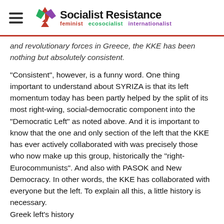Socialist Resistance — feminist ecosocialist internationalist
and revolutionary forces in Greece, the KKE has been nothing but absolutely consistent.
“Consistent”, however, is a funny word. One thing important to understand about SYRIZA is that its left momentum today has been partly helped by the split of its most right-wing, social-democratic component into the “Democratic Left” as noted above. And it is important to know that the one and only section of the left that the KKE has ever actively collaborated with was precisely those who now make up this group, historically the “right-Eurocommunists”. And also with PASOK and New Democracy. In other words, the KKE has collaborated with everyone but the left. To explain all this, a little history is necessary.
Greek left’s history
The KKE has historically played a large part in Greek politics since its historic role of leading anti-Nazi resistance in WWII,